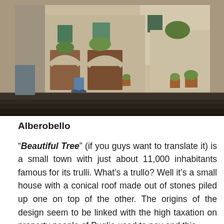[Figure (photo): Photograph of an old Italian stone building with arched doorways, wooden doors, a blue scooter parked in a courtyard, potted plants, stone steps in the foreground, and greenery growing on the walls. Likely Matera, Italy.]
Alberobello
“Beautiful Tree” (if you guys want to translate it) is a small town with just about 11,000 inhabitants famous for its trulli. What’s a trullo? Well it’s a small house with a conical roof made out of stones piled up one on top of the other. The origins of the design seem to be linked with the high taxation on property people of Puglia used to pay and this